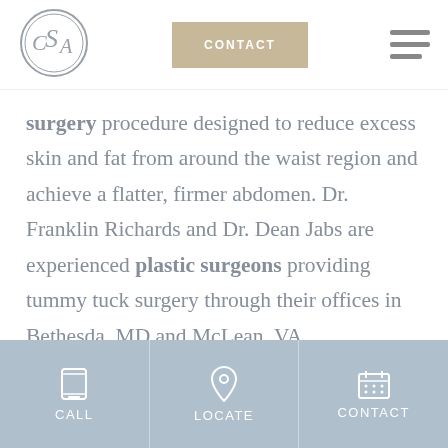[Figure (logo): CSA logo — circular badge with letters C, S, A intertwined inside a double circle, gray]
CONTACT
[Figure (other): Hamburger menu icon — three horizontal gray bars]
surgery procedure designed to reduce excess skin and fat from around the waist region and achieve a flatter, firmer abdomen. Dr. Franklin Richards and Dr. Dean Jabs are experienced plastic surgeons providing tummy tuck surgery through their offices in Bethesda, MD and McLean, VA.
During the initial consultation with their
CALL   LOCATE   CONTACT